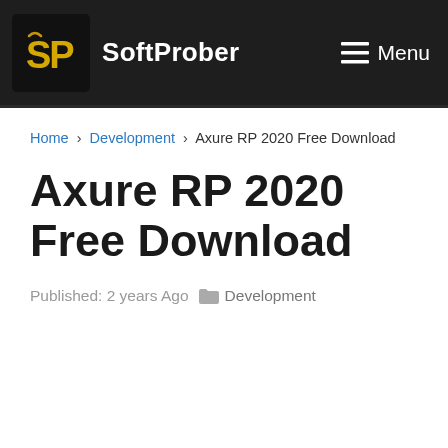SoftProber  Menu
Home › Development › Axure RP 2020 Free Download
Axure RP 2020 Free Download
Published: 2 years Ago  Development